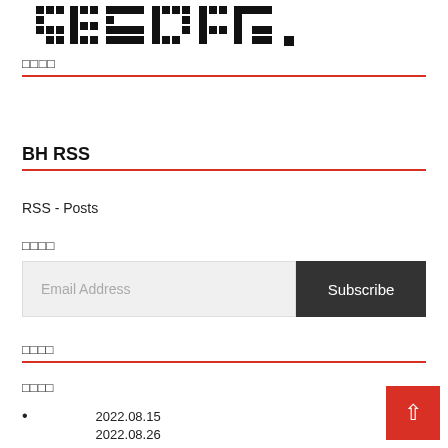[Figure (logo): Pixel-art style logo in bold black pixel font on white background]
□□□□
BH RSS
RSS - Posts
□□□□
Email Address  Subscribe
□□□□
□□□□
2022.08.15
2022.08.26